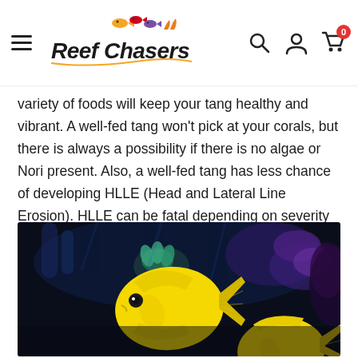Reef Chasers
variety of foods will keep your tang healthy and vibrant. A well-fed tang won't pick at your corals, but there is always a possibility if there is no algae or Nori present. Also, a well-fed tang has less chance of developing HLLE (Head and Lateral Line Erosion). HLLE can be fatal depending on severity and can leave lasting scars on the tang.
[Figure (photo): Two bright yellow tang fish swimming in a reef aquarium with corals and blue-lit water in the background]